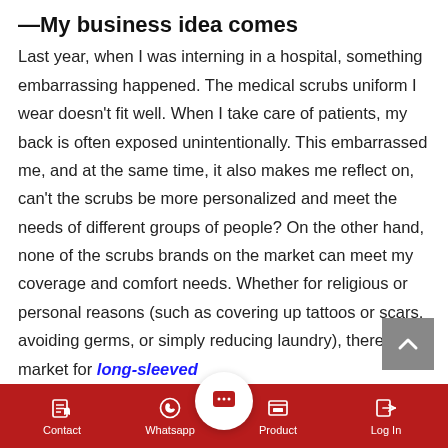—My business idea comes
Last year, when I was interning in a hospital, something embarrassing happened. The medical scrubs uniform I wear doesn't fit well. When I take care of patients, my back is often exposed unintentionally. This embarrassed me, and at the same time, it also makes me reflect on, can't the scrubs be more personalized and meet the needs of different groups of people? On the other hand, none of the scrubs brands on the market can meet my coverage and comfort needs. Whether for religious or personal reasons (such as covering up tattoos or scars, avoiding germs, or simply reducing laundry), there is a market for long-sleeved
Contact | Whatsapp | [chat] | Product | Log In